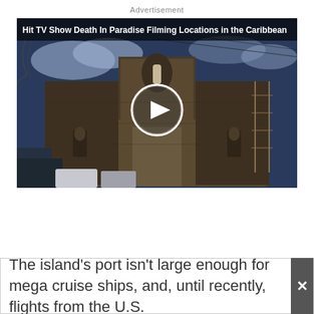Advertisement
[Figure (screenshot): Video thumbnail of a stone church or cathedral building in the Caribbean with a play button overlay. Title text reads: Hit TV Show Death In Paradise Filming Locations in the Caribbean]
The island's port isn't large enough for mega cruise ships, and, until recently, flights from the U.S.